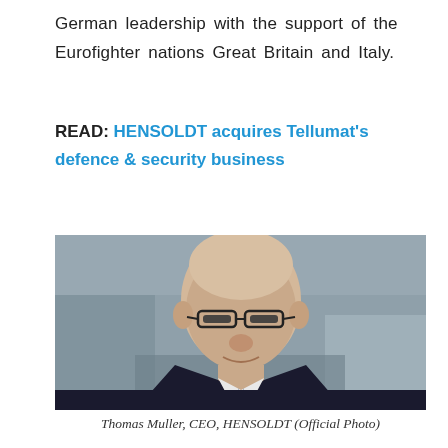German leadership with the support of the Eurofighter nations Great Britain and Italy.
READ: HENSOLDT acquires Tellumat's defence & security business
[Figure (photo): Portrait photo of Thomas Muller, CEO of HENSOLDT, in a dark suit and tie, bald, wearing glasses, with a 'defence star' watermark in the top right corner.]
Thomas Muller, CEO, HENSOLDT (Official Photo)